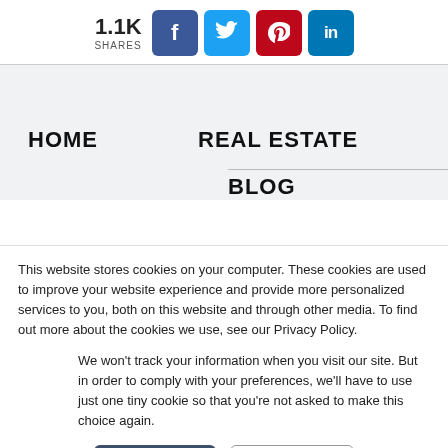[Figure (infographic): Social share bar showing 1.1K shares with Facebook, Twitter, Pinterest, and LinkedIn buttons]
HOME
REAL ESTATE
BLOG
This website stores cookies on your computer. These cookies are used to improve your website experience and provide more personalized services to you, both on this website and through other media. To find out more about the cookies we use, see our Privacy Policy.
We won't track your information when you visit our site. But in order to comply with your preferences, we'll have to use just one tiny cookie so that you're not asked to make this choice again.
Accept
Decline